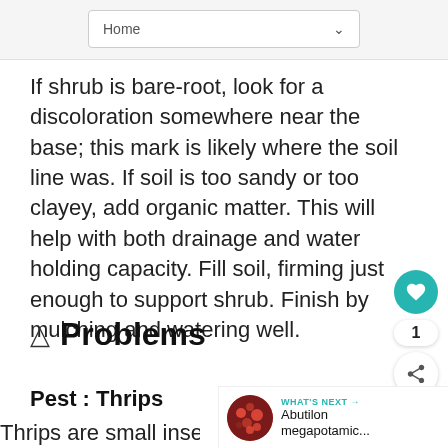Home
If shrub is bare-root, look for a discoloration somewhere near the base; this mark is likely where the soil line was. If soil is too sandy or too clayey, add organic matter. This will help with both drainage and water holding capacity. Fill soil, firming just enough to support shrub. Finish by mulching and watering well.
⚠ Problems
Pest : Thrips
Thrips are small insects that attack...